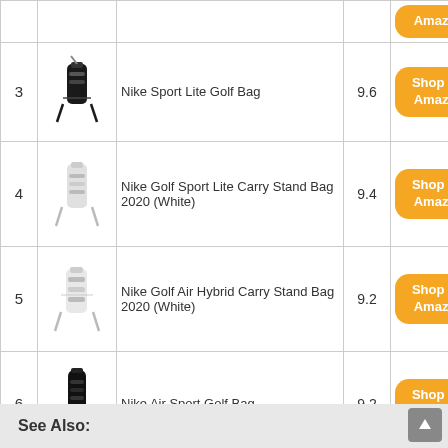| # | Image | Product | Score | Link |
| --- | --- | --- | --- | --- |
| 3 | [img] | Nike Sport Lite Golf Bag | 9.6 | Shop On Amazon |
| 4 | [img] | Nike Golf Sport Lite Carry Stand Bag 2020 (White) | 9.4 | Shop On Amazon |
| 5 | [img] | Nike Golf Air Hybrid Carry Stand Bag 2020 (White) | 9.2 | Shop On Amazon |
| 6 | [img] | Nike Air Sport Golf Bag | 9.2 | Shop On Amazon |
| 7 | [img] | Nike Golf Stand Bag - Air Hybrid | 8.8 | Shop On Amazon |
See Also: